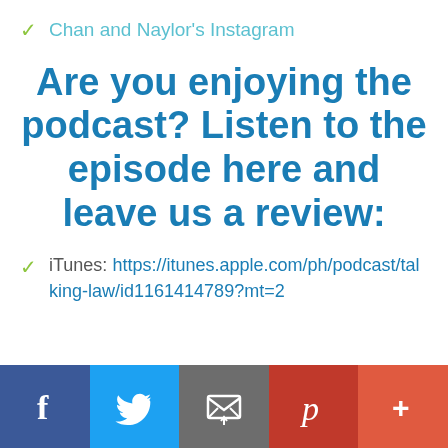Chan and Naylor's Instagram
Are you enjoying the podcast? Listen to the episode here and leave us a review:
iTunes: https://itunes.apple.com/ph/podcast/talking-law/id1161414789?mt=2
[Figure (infographic): Social sharing bar with Facebook, Twitter, Email, Pinterest, and More (+) buttons]